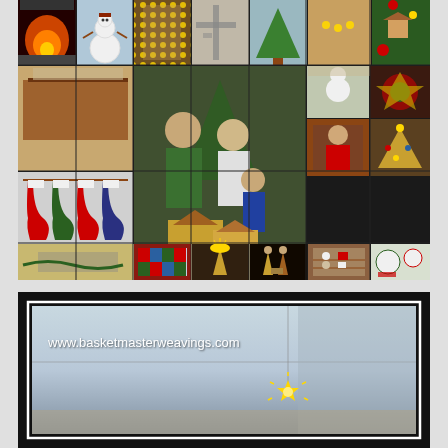[Figure (photo): Christmas photo collage showing multiple holiday scenes including a fireplace, snowman, Christmas lights, decorations, stockings, children with gingerbread houses, nativity scene, Christmas quilts, Christmas trees, and holiday decorations arranged in a grid layout]
[Figure (photo): Framed photo with black border and white inner frame showing a room interior with ceiling and a gold star light, with website URL www.basketmasterweavings.com overlaid in white text]